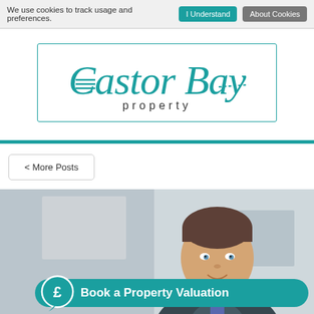We use cookies to track usage and preferences.  I Understand  About Cookies
[Figure (logo): Castor Bay property logo — teal cursive script with a rectangular border]
[Figure (photo): Professional headshot of a man in a suit smiling, background blurred office setting]
< More Posts
Book a Property Valuation